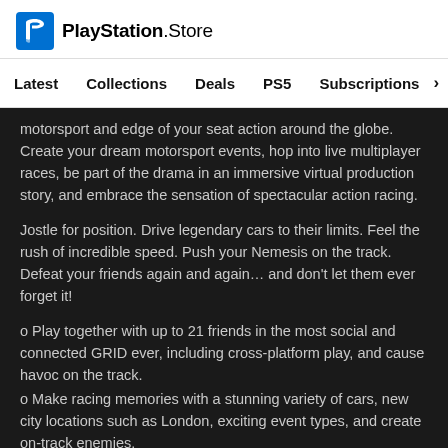[Figure (logo): PlayStation Store logo with shopping bag icon and wordmark]
Latest   Collections   Deals   PS5   Subscriptions >
motorsport and edge of your seat action around the globe. Create your dream motorsport events, hop into live multiplayer races, be part of the drama in an immersive virtual production story, and embrace the sensation of spectacular action racing.
Jostle for position. Drive legendary cars to their limits. Feel the rush of incredible speed. Push your Nemesis on the track. Defeat your friends again and again… and don't let them ever forget it!
o Play together with up to 21 friends in the most social and connected GRID ever, including cross-platform play, and cause havoc on the track.
o Make racing memories with a stunning variety of cars, new city locations such as London, exciting event types, and create on-track enemies.
o Use the Race Creator to design adrenaline-fueled races to